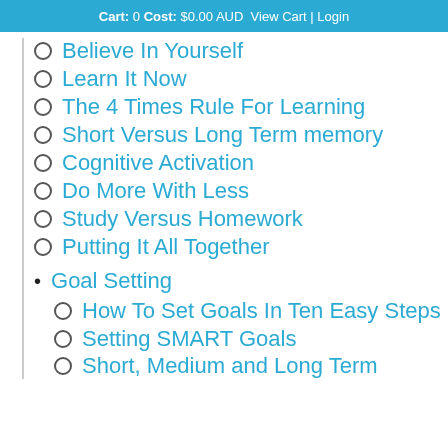Cart: 0 Cost: $0.00 AUD View Cart | Login
Believe In Yourself
Learn It Now
The 4 Times Rule For Learning
Short Versus Long Term memory
Cognitive Activation
Do More With Less
Study Versus Homework
Putting It All Together
Goal Setting
How To Set Goals In Ten Easy Steps
Setting SMART Goals
Short, Medium and Long Term